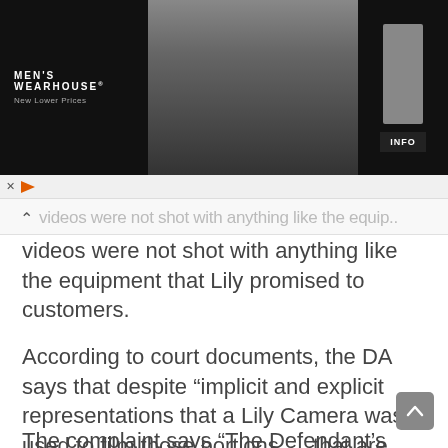[Figure (photo): Men's Wearhouse advertisement banner showing a couple in formalwear, a boy in a suit, and an INFO button on a dark background]
videos were not shot with anything like the equipment that Lily promised to customers.
According to court documents, the DA says that despite “implicit and explicit representations that a Lily Camera was used to film those portions … that are seen from the point of view of a Lily,” but they were in fact “filmed by a much more expensive, professional camera drone (the DJI Inspire).”
The complaint says “The Defendant’s conduct